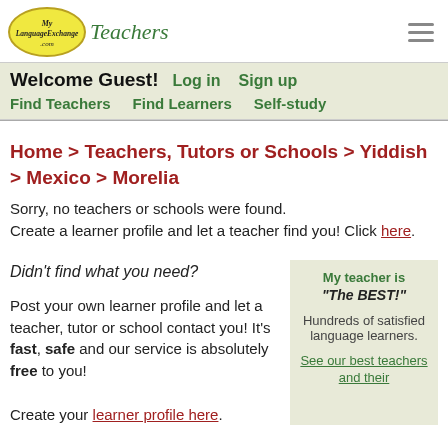[Figure (logo): MyLanguageExchange.com logo oval with handwritten text, followed by italic green 'Teachers' text]
Welcome Guest! Log in Sign up
Find Teachers Find Learners Self-study
Home > Teachers, Tutors or Schools > Yiddish > Mexico > Morelia
Sorry, no teachers or schools were found. Create a learner profile and let a teacher find you! Click here.
Didn't find what you need?

Post your own learner profile and let a teacher, tutor or school contact you! It's fast, safe and our service is absolutely free to you!

Create your learner profile here.
My teacher is "The BEST!"

Hundreds of satisfied language learners.

See our best teachers and their